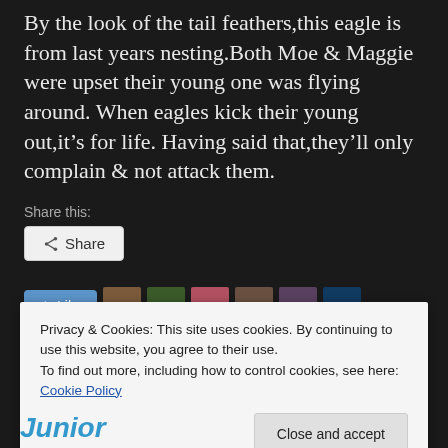By the look of the tail feathers,this eagle is from last years nesting.Both Moe & Maggie were upset their young one was flying around. When eagles kick their young out,it’s for life. Having said that,they’ll only complain & not attack them.
Share this:
[Figure (screenshot): Share button with share icon]
[Figure (screenshot): Like button with star icon followed by 10 blogger avatar thumbnails]
50 bloggers like this.
Privacy & Cookies: This site uses cookies. By continuing to use this website, you agree to their use.
To find out more, including how to control cookies, see here: Cookie Policy
Close and accept
Junior